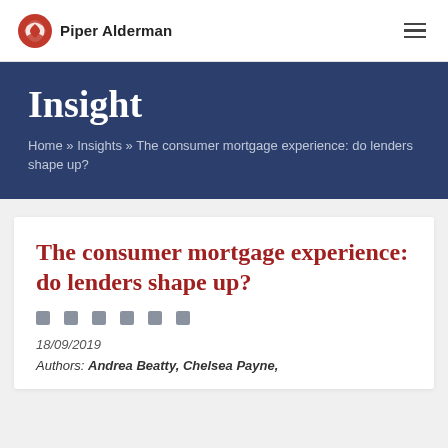Piper Alderman
Insight
Home » Insights » The consumer mortgage experience: do lenders shape up?
The consumer mortgage experience: do lenders shape up?
18/09/2019
Authors: Andrea Beatty, Chelsea Payne,